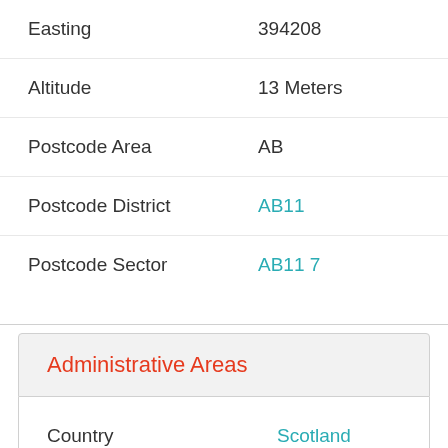| Field | Value |
| --- | --- |
| Easting | 394208 |
| Altitude | 13 Meters |
| Postcode Area | AB |
| Postcode District | AB11 |
| Postcode Sector | AB11 7 |
Administrative Areas
| Field | Value |
| --- | --- |
| Country | Scotland |